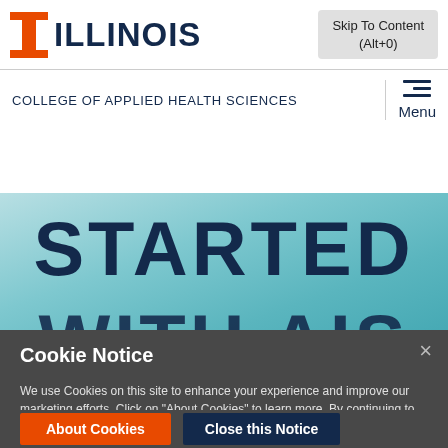[Figure (logo): University of Illinois block I logo in orange and blue, with ILLINOIS text in dark navy bold next to it]
Skip To Content (Alt+0)
COLLEGE OF APPLIED HEALTH SCIENCES
Menu
[Figure (photo): Hero banner with teal/cyan gradient background showing large bold text STARTED and partial text WITH AIS]
Cookie Notice
We use Cookies on this site to enhance your experience and improve our marketing efforts. Click on "About Cookies" to learn more. By continuing to browse without changing your browser settings to block or delete Cookies, you agree to the storing of Cookies and related technologies on your device. University of Illinois System Cookie Policy
About Cookies
Close this Notice